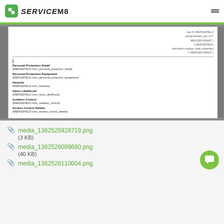ServiceM8
[Figure (screenshot): Document preview showing merge fields for a ServiceM8 form template with fields: Personal Protection Detail, Personal Protection Equipment, Hazards, Injury Likelihood, Isolation Control, Access Control Details]
media_1362525928719.png (3 KB)
media_1362526089680.png (40 KB)
media_1362526110004.png